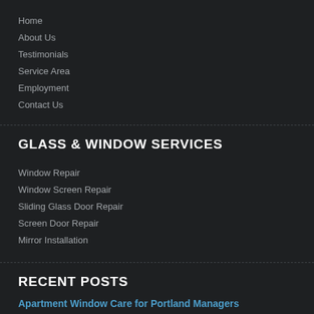Home
About Us
Testimonials
Service Area
Employment
Contact Us
GLASS & WINDOW SERVICES
Window Repair
Window Screen Repair
Sliding Glass Door Repair
Screen Door Repair
Mirror Installation
RECENT POSTS
Apartment Window Care for Portland Managers